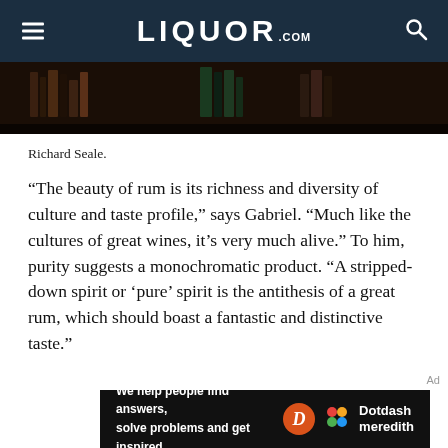LIQUOR.COM
[Figure (photo): Dark background photo showing bookshelves with books in dim lighting]
Richard Seale.
“The beauty of rum is its richness and diversity of culture and taste profile,” says Gabriel. “Much like the cultures of great wines, it’s very much alive.” To him, purity suggests a monochromatic product. “A stripped-down spirit or ‘pure’ spirit is the antithesis of a great rum, which should boast a fantastic and distinctive taste.”
[Figure (logo): Dotdash Meredith advertisement banner: 'We help people find answers, solve problems and get inspired.' with Dotdash Meredith logo]